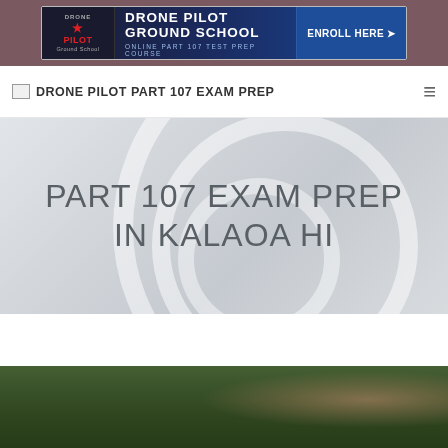[Figure (screenshot): Drone Pilot Ground School advertisement banner with logo, text 'DRONE PILOT GROUND SCHOOL', subtitle 'ONLINE PART 107 TEST PREP COURSE', and 'ENROLL HERE' button on dark blue background]
DRONE PILOT PART 107 EXAM PREP
PART 107 EXAM PREP IN KALAOA HI
[Figure (photo): Person in a forest, partial view with red hair visible, dark forested background]